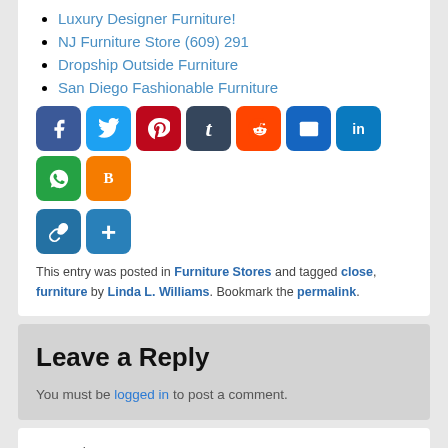Luxury Designer Furniture!
NJ Furniture Store (609) 291
Dropship Outside Furniture
San Diego Fashionable Furniture
[Figure (infographic): Social media share buttons: Facebook, Twitter, Pinterest, Tumblr, Reddit, Email, LinkedIn, WhatsApp, Blogger, Copy Link, Add]
This entry was posted in Furniture Stores and tagged close, furniture by Linda L. Williams. Bookmark the permalink.
Leave a Reply
You must be logged in to post a comment.
← Previous